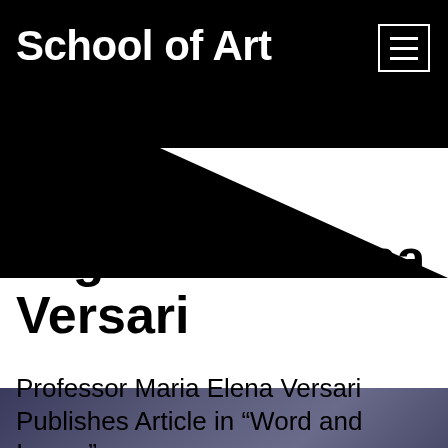School of Art
Tag: Maria Elena Versari
Professor Maria Elena Versari Publishes Article in “Word and Image”
[Figure (photo): Partial view of a dark bluish-purple textured image at the bottom of the page]